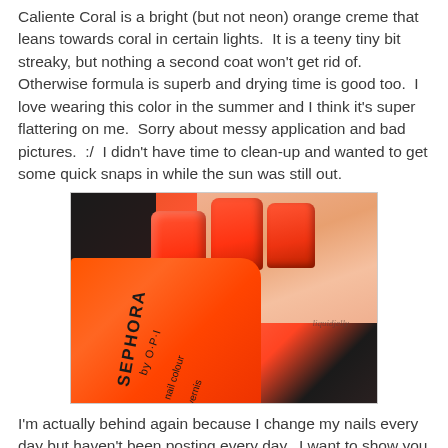Caliente Coral is a bright (but not neon) orange creme that leans towards coral in certain lights.  It is a teeny tiny bit streaky, but nothing a second coat won't get rid of.  Otherwise formula is superb and drying time is good too.  I love wearing this color in the summer and I think it's super flattering on me.  Sorry about messy application and bad pictures.  :/  I didn't have time to clean-up and wanted to get some quick snaps in while the sun was still out.
[Figure (photo): Close-up photo of a hand with orange-red nail polish, next to a SEPHORA by O·P·I nail colour bottle showing the same orange-red shade.]
I'm actually behind again because I change my nails every day but haven't been posting every day.  I want to show you